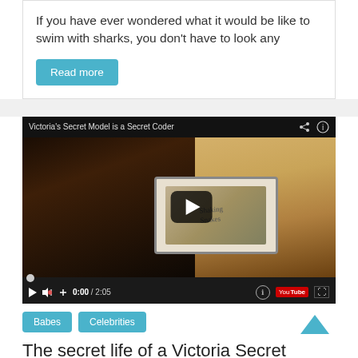If you have ever wondered what it would be like to swim with sharks, you don't have to look any
Read more
[Figure (screenshot): Embedded YouTube video player showing a woman holding a tablet. Title bar reads 'Victoria's Secret Model is a Secret Coder'. Controls show 0:00 / 2:05.]
Babes   Celebrities
The secret life of a Victoria Secret